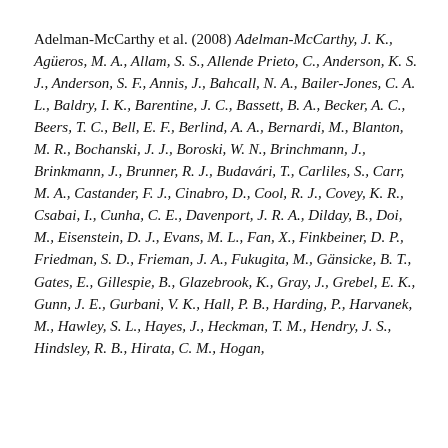Adelman-McCarthy et al. (2008) Adelman-McCarthy, J. K., Agüeros, M. A., Allam, S. S., Allende Prieto, C., Anderson, K. S. J., Anderson, S. F., Annis, J., Bahcall, N. A., Bailer-Jones, C. A. L., Baldry, I. K., Barentine, J. C., Bassett, B. A., Becker, A. C., Beers, T. C., Bell, E. F., Berlind, A. A., Bernardi, M., Blanton, M. R., Bochanski, J. J., Boroski, W. N., Brinchmann, J., Brinkmann, J., Brunner, R. J., Budavári, T., Carliles, S., Carr, M. A., Castander, F. J., Cinabro, D., Cool, R. J., Covey, K. R., Csabai, I., Cunha, C. E., Davenport, J. R. A., Dilday, B., Doi, M., Eisenstein, D. J., Evans, M. L., Fan, X., Finkbeiner, D. P., Friedman, S. D., Frieman, J. A., Fukugita, M., Gänsicke, B. T., Gates, E., Gillespie, B., Glazebrook, K., Gray, J., Grebel, E. K., Gunn, J. E., Gurbani, V. K., Hall, P. B., Harding, P., Harvanek, M., Hawley, S. L., Hayes, J., Heckman, T. M., Hendry, J. S., Hindsley, R. B., Hirata, C. M., Hogan,